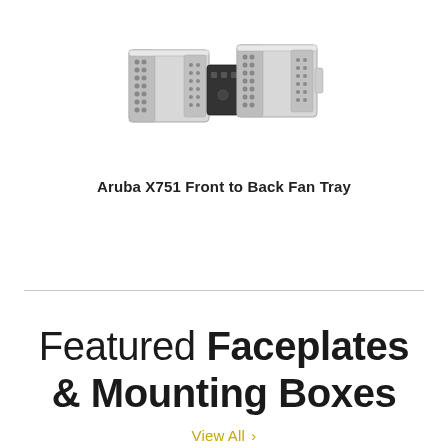[Figure (photo): Aruba X751 Front to Back Fan Tray unit — a silver/grey dual-fan module with honeycomb mesh grilles on both ends and a black center connector piece]
Aruba X751 Front to Back Fan Tray
Featured Faceplates & Mounting Boxes
View All >